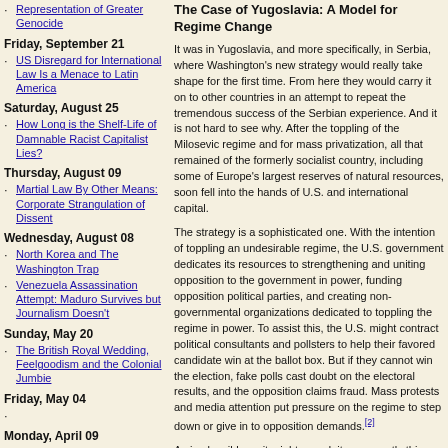Representation of Greater Genocide
Friday, September 21
US Disregard for International Law Is a Menace to Latin America
Saturday, August 25
How Long is the Shelf-Life of Damnable Racist Capitalist Lies?
Thursday, August 09
Martial Law By Other Means: Corporate Strangulation of Dissent
Wednesday, August 08
North Korea and The Washington Trap
Venezuela Assassination Attempt: Maduro Survives but Journalism Doesn't
Sunday, May 20
The British Royal Wedding, Feelgoodism and the Colonial Jumbie
Friday, May 04
Monday, April 09
The Bayer-Monsanto Merger Is Bad News for the Planet
Tuesday, March 20
Finally, Some Good News
Thursday, March 15
The Case of Yugoslavia: A Model for Regime Change
It was in Yugoslavia, and more specifically, in Serbia, where Washington's new strategy would really take shape for the first time. From here they would carry it on to other countries in an attempt to repeat the tremendous success of the Serbian experience. And it is not hard to see why. After the toppling of the Milosevic regime and for mass privatization, all that remained of the formerly socialist country, including some of Europe's largest reserves of natural resources, soon fell into the hands of U.S. and international capital.
The strategy is a sophisticated one. With the intention of toppling an undesirable regime, the U.S. government dedicates its resources to strengthening and uniting opposition to the government in power, funding opposition political parties, and creating non-governmental organizations dedicated to toppling the regime in power. To assist this, the U.S. might contract political consultants and pollsters to help their favored candidate win at the ballot box. But if they cannot win the election, fake polls cast doubt on the electoral results, and the opposition claims fraud. Mass protests and media attention put pressure on the regime to step down or give in to opposition demands.[2]
As implausible as it might sound, it was exactly this strategy that toppled Slobodan Milosevic in Serbia in 2000. After the sanctions and NATO bombing had failed to produce regime change, the United States worked to strengthen Milosevic's internal opposition, unite them behind one candidate, Vojislav Kostunica, and put more than $40 million into his election campaign.[3] U.S.-funded NGOs and electoral consultants helped create a propaganda campaign surrounding the elections, and worked behind the scenes to help organize mass resistance to the Milosevic regime.[4] U.S. "election helpers" were deployed around the country ostensibly to monitor results. The U.S. even provided young activists with thousands of cans of spray paint and campaign stickers to plaster the country with anti-Milosevic slogans.[5]